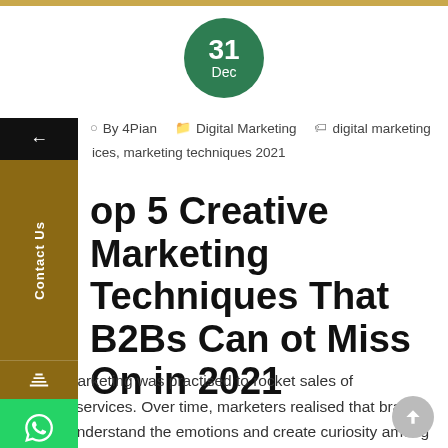[Figure (other): Green circular date badge showing '31 Dec']
By 4Pian   Digital Marketing   digital marketing ices, marketing techniques 2021
Top 5 Creative Marketing Techniques That B2Bs Can Not Miss On in 2021
Earlier, marketing was practised to rocket sales of products/services. Over time, marketers realised that brands need to understand the emotions and create curiosity among the viewers. They understood how important [...]